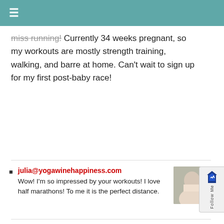≡
miss running! Currently 34 weeks pregnant, so my workouts are mostly strength training, walking, and barre at home. Can't wait to sign up for my first post-baby race!
julia@yogawinehappiness.com — Wow! I'm so impressed by your workouts! I love half marathons! To me it is the perfect distance.
Sagan — Haha, your plan! It made me giggle 🙂 Potatoes & eggs are one of the BEST breakfasts for